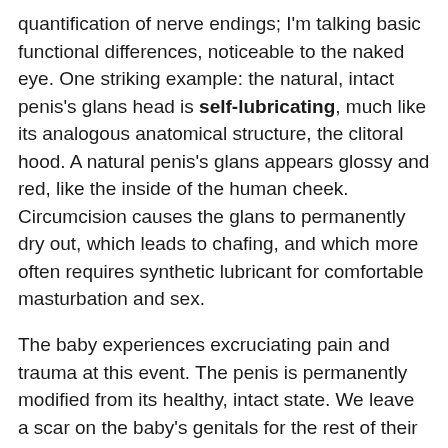quantification of nerve endings; I'm talking basic functional differences, noticeable to the naked eye. One striking example: the natural, intact penis's glans head is self-lubricating, much like its analogous anatomical structure, the clitoral hood. A natural penis's glans appears glossy and red, like the inside of the human cheek. Circumcision causes the glans to permanently dry out, which leads to chafing, and which more often requires synthetic lubricant for comfortable masturbation and sex.
The baby experiences excruciating pain and trauma at this event. The penis is permanently modified from its healthy, intact state. We leave a scar on the baby's genitals for the rest of their life. Denying this is dishonest.